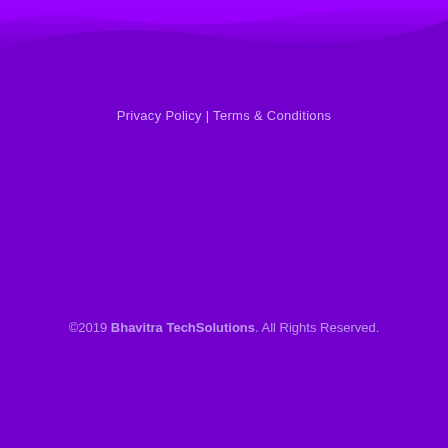Privacy Policy | Terms & Conditions
©2019 Bhavitra TechSolutions. All Rights Reserved.